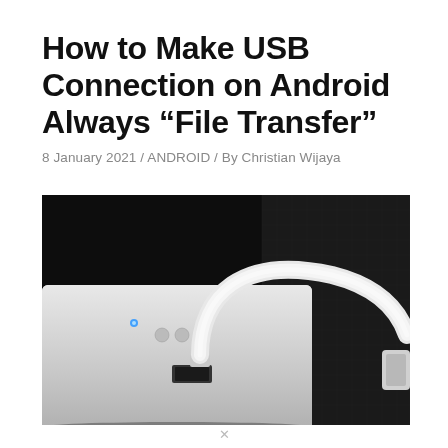How to Make USB Connection on Android Always “File Transfer”
8 January 2021 / ANDROID / By Christian Wijaya
[Figure (photo): Close-up photo of a white USB cable plugged into the back of a white Android phone, resting on a dark surface]